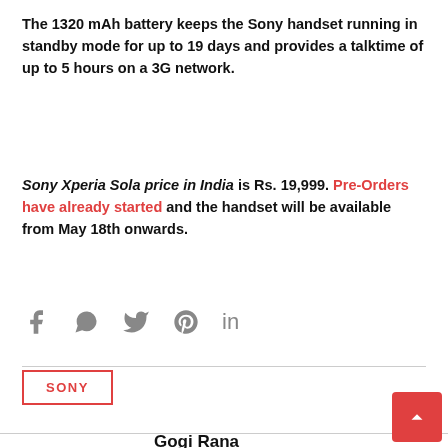The 1320 mAh battery keeps the Sony handset running in standby mode for up to 19 days and provides a talktime of up to 5 hours on a 3G network.
Sony Xperia Sola price in India is Rs. 19,999. Pre-Orders have already started and the handset will be available from May 18th onwards.
[Figure (other): Social share icons: Facebook, WhatsApp, Twitter, Pinterest, LinkedIn]
SONY
Gogi Rana